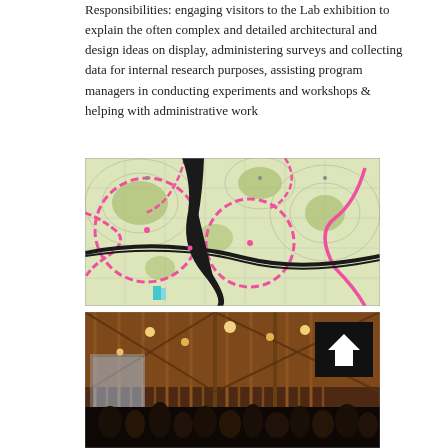Responsibilities: engaging visitors to the Lab exhibition to explain the often complex and detailed architectural and design ideas on display, administering surveys and collecting data for internal research purposes, assisting program managers in conducting experiments and workshops & helping with administrative work
[Figure (map): Architectural urban planning map with pink circular overlays, black pathway shapes, green areas, and grid/contour lines on a light background]
[Figure (photo): Interior photo of a large building with wooden/bamboo lattice structure, warm glowing lights, people gathered below, and a black directional sign with white upward arrow in upper right]